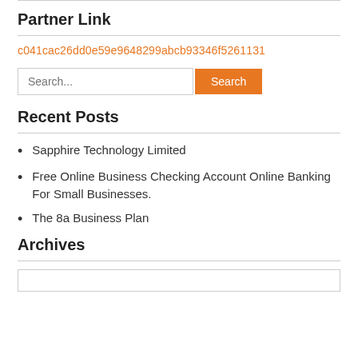Partner Link
c041cac26dd0e59e9648299abcb93346f5261131
Search... Search
Recent Posts
Sapphire Technology Limited
Free Online Business Checking Account Online Banking For Small Businesses.
The 8a Business Plan
Archives